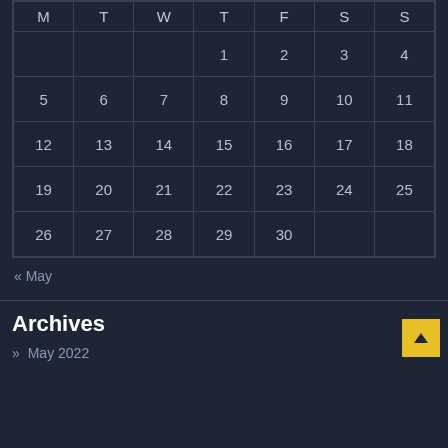| M | T | W | T | F | S | S |
| --- | --- | --- | --- | --- | --- | --- |
|  |  |  | 1 | 2 | 3 | 4 |
| 5 | 6 | 7 | 8 | 9 | 10 | 11 |
| 12 | 13 | 14 | 15 | 16 | 17 | 18 |
| 19 | 20 | 21 | 22 | 23 | 24 | 25 |
| 26 | 27 | 28 | 29 | 30 |  |  |
« May
Archives
» May 2022